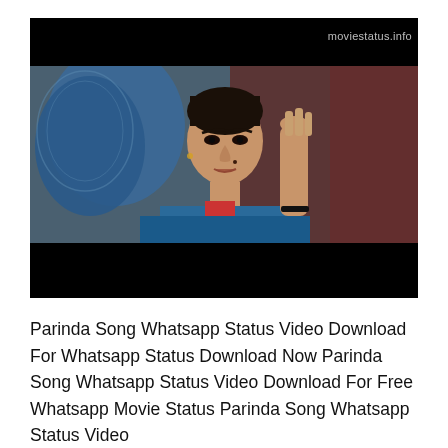[Figure (photo): A movie still from a film showing a woman wearing a blue dupatta/scarf looking intensely at the camera, with her hand raised slightly. The image has black letterbox bars at top and bottom. A watermark reading 'moviestatus.info' appears in the top right corner of the image.]
Parinda Song Whatsapp Status Video Download For Whatsapp Status Download Now Parinda Song Whatsapp Status Video Download For Free Whatsapp Movie Status Parinda Song Whatsapp Status Video